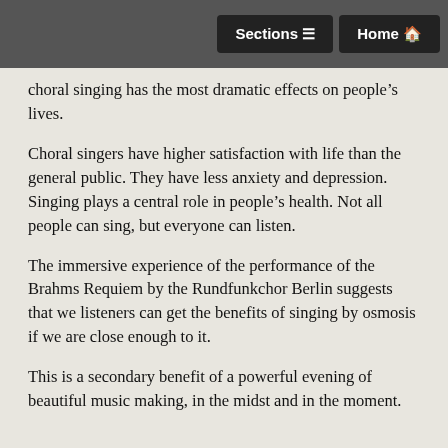Sections | Home
choral singing has the most dramatic effects on people’s lives.
Choral singers have higher satisfaction with life than the general public. They have less anxiety and depression. Singing plays a central role in people’s health. Not all people can sing, but everyone can listen.
The immersive experience of the performance of the Brahms Requiem by the Rundfunkchor Berlin suggests that we listeners can get the benefits of singing by osmosis if we are close enough to it.
This is a secondary benefit of a powerful evening of beautiful music making, in the midst and in the moment.